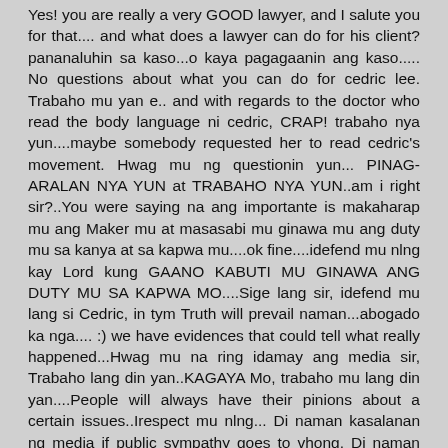Yes! you are really a very GOOD lawyer, and I salute you for that.... and what does a lawyer can do for his client?pananaluhin sa kaso...o kaya pagagaanin ang kaso..... No questions about what you can do for cedric lee. Trabaho mu yan e.. and with regards to the doctor who read the body language ni cedric, CRAP! trabaho nya yun....maybe somebody requested her to read cedric's movement. Hwag mu ng questionin yun... PINAG-ARALAN NYA YUN at TRABAHO NYA YUN..am i right sir?..You were saying na ang importante is makaharap mu ang Maker mu at masasabi mu ginawa mu ang duty mu sa kanya at sa kapwa mu....ok fine....idefend mu nlng kay Lord kung GAANO KABUTI MU GINAWA ANG DUTY MU SA KAPWA MO....Sige lang sir, idefend mu lang si Cedric, in tym Truth will prevail naman...abogado ka nga.... :) we have evidences that could tell what really happened...Hwag mu na ring idamay ang media sir, Trabaho lang din yan..KAGAYA Mo, trabaho mu lang din yan....People will always have their pinions about a certain issues..Irespect mu nlng... Di naman kasalanan ng media if public sympathy goes to vhong. Di naman bobo ang mga tao sir. Di man kami abogado, di man